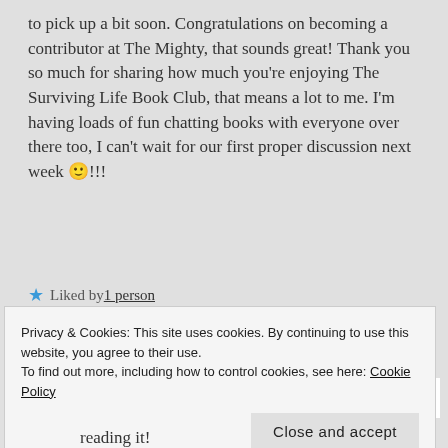to pick up a bit soon. Congratulations on becoming a contributor at The Mighty, that sounds great! Thank you so much for sharing how much you're enjoying The Surviving Life Book Club, that means a lot to me. I'm having loads of fun chatting books with everyone over there too, I can't wait for our first proper discussion next week 🙂!!!
★ Liked by 1 person
Reply →
Privacy & Cookies: This site uses cookies. By continuing to use this website, you agree to their use. To find out more, including how to control cookies, see here: Cookie Policy
Close and accept
reading it!